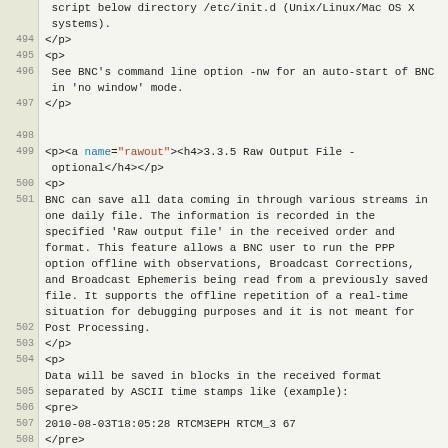script below directory /etc/init.d (Unix/Linux/Mac OS X systems).
494 </p>
495 <p>
496  See BNC's command line option -nw for an auto-start of BNC in 'no window' mode.
497 </p>
498
499 <p><a name="rawout"><h4>3.3.5 Raw Output File - optional</h4></p>
500 <p>
501 BNC can save all data coming in through various streams in one daily file. The information is recorded in the specified 'Raw output file' in the received order and format. This feature allows a BNC user to run the PPP option offline with observations, Broadcast Corrections, and Broadcast Ephemeris being read from a previously saved file. It supports the offline repetition of a real-time situation for debugging purposes and it is not meant for Post Processing.
502 </p>
503 <p>
504 Data will be saved in blocks in the received format separated by ASCII time stamps like (example):
505 <pre>
506 2010-08-03T18:05:28 RTCM3EPH RTCM_3 67
507 </pre>
508 </p>
509 <p>
510 This example block header tells you that 67 bytes were saved in the data block following this time stamp. The information in this block is encoded in RTCM Version 3